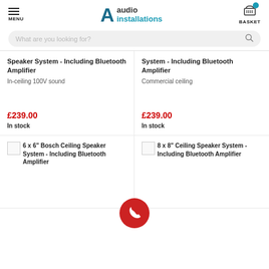MENU | audio installations | BASKET
What are you looking for?
Speaker System - Including Bluetooth Amplifier
In-ceiling 100V sound
£239.00
In stock
System - Including Bluetooth Amplifier
Commercial ceiling
£239.00
In stock
[Figure (screenshot): 6 x 6" Bosch Ceiling Speaker System - Including Bluetooth Amplifier product card with broken image placeholder]
[Figure (screenshot): 8 x 8" Ceiling Speaker System - Including Bluetooth Amplifier product card with broken image placeholder]
[Figure (other): Red circular phone/call button overlay]